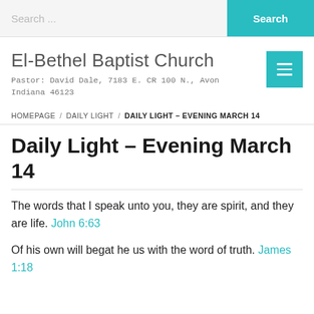Search ... | Search
El-Bethel Baptist Church
Pastor: David Dale, 7183 E. CR 100 N., Avon Indiana 46123
HOMEPAGE / DAILY LIGHT / DAILY LIGHT – EVENING MARCH 14
Daily Light – Evening March 14
The words that I speak unto you, they are spirit, and they are life. John 6:63
Of his own will begat he us with the word of truth. James 1:18